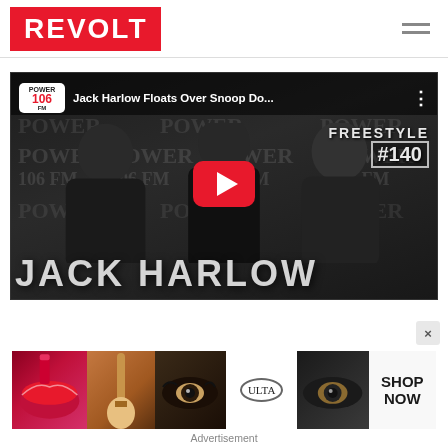REVOLT
[Figure (screenshot): YouTube video thumbnail showing Jack Harlow with two other people in front of Power 106 FM backdrop. Title reads 'Jack Harlow Floats Over Snoop Do...' with Power 106 FM logo. Large text 'JACK HARLOW' at bottom. 'FREESTYLE #140' badge on right. Red YouTube play button in center.]
[Figure (screenshot): ULTA Beauty advertisement banner showing makeup imagery, eyes, lips, brushes, ULTA logo, and 'SHOP NOW' text on right side.]
Advertisement